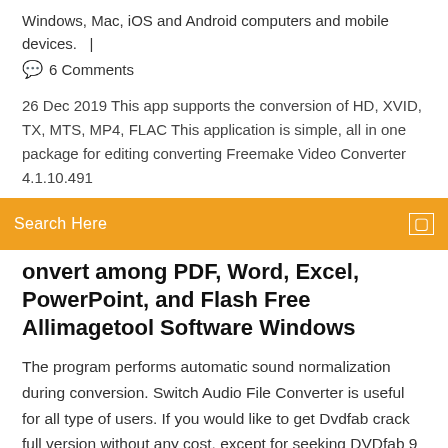Windows, Mac, iOS and Android computers and mobile devices.   |
🗨  6 Comments
26 Dec 2019 This app supports the conversion of HD, XVID, TX, MTS, MP4, FLAC This application is simple, all in one package for editing converting Freemake Video Converter 4.1.10.491
Search Here
onvert among PDF, Word, Excel, PowerPoint, and Flash Free Allimagetool Software Windows
The program performs automatic sound normalization during conversion. Switch Audio File Converter is useful for all type of users. If you would like to get Dvdfab crack full version without any cost, except for seeking DVDfab 9 full crack, DVDfab 10 full crack throughout the web, why not try a best Dvdfab alternative. Prism Video Converter keygen previews the output to see the quality is up or low. You can also convert DVDs quickly into